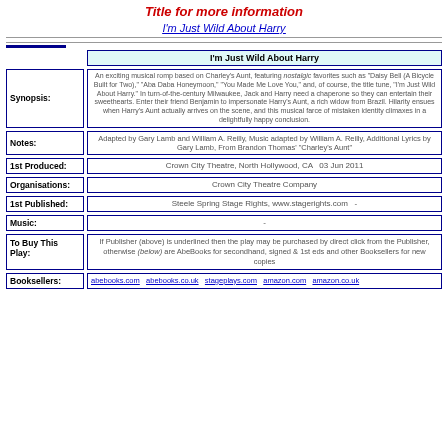Title for more information
I'm Just Wild About Harry
| Label | Value |
| --- | --- |
|  | I'm Just Wild About Harry |
| Synopsis: | An exciting musical romp based on Charley's Aunt, featuring nostalgic favorites such as "Daisy Bell (A Bicycle Built for Two)," "Aba Daba Honeymoon," "You Made Me Love You," and, of course, the title tune, "I'm Just Wild About Harry." In turn-of-the-century Milwaukee, Jack and Harry need a chaperone so they can entertain their sweethearts. Enter their friend Benjamin to impersonate Harry's Aunt, a rich widow from Brazil. Hilarity ensues when Harry's Aunt actually arrives on the scene, and this musical farce of mistaken identity climaxes in a delightfully happy conclusion. |
| Notes: | Adapted by Gary Lamb and William A. Reilly, Music adapted by William A. Reilly, Additional Lyrics by Gary Lamb, From Brandon Thomas' "Charley's Aunt" |
| 1st Produced: | Crown City Theatre, North Hollywood, CA    03 Jun 2011 |
| Organisations: | Crown City Theatre Company |
| 1st Published: | Steele Spring Stage Rights, www.stagerights.com    - |
| Music: | - |
| To Buy This Play: | If Publisher (above) is underlined then the play may be purchased by direct click from the Publisher, otherwise (below) are AbeBooks for secondhand, signed & 1st eds and other Booksellers for new copies |
| Booksellers: | abebooks.com    abebooks.co.uk    stageplays.com    amazon.com    amazon.co.uk |